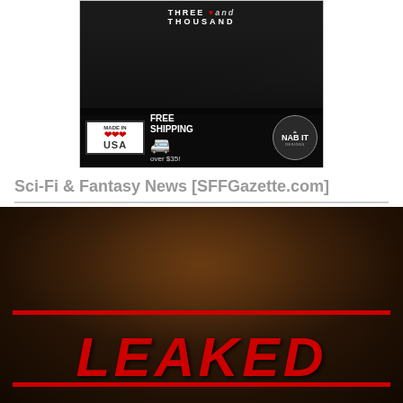[Figure (photo): Advertisement photo showing person wearing a black t-shirt with 'THREE THOUSAND' text and a heart design. Bottom bar shows 'MADE IN USA', 'FREE SHIPPING over $35!' with van icon, and 'NAB IT DESIGNS' circular badge.]
Sci-Fi & Fantasy News [SFFGazette.com]
[Figure (photo): Dark horror/sci-fi image of a monstrous creature (possibly a gargoyle or demon) with the word 'LEAKED' overlaid in large red bold italic letters, with two red horizontal lines above and below the text.]